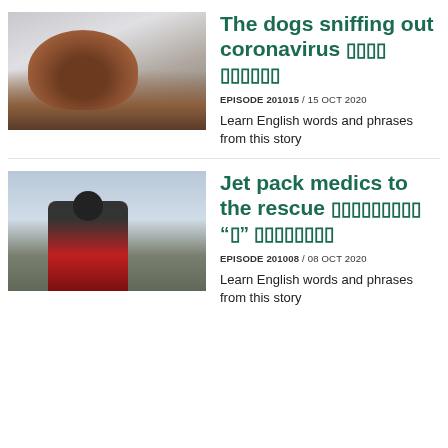[Figure (photo): A brown curly-haired dog wearing a red vest, sniffing at a silver surface inside a white room, with a person in blue visible in the background.]
The dogs sniffing out coronavirus ที่กำลัง ดมกลิ่น
EPISODE 201015 / 15 OCT 2020
Learn English words and phrases from this story
[Figure (photo): A person wearing a jet pack and red suit flying over mountain terrain.]
Jet pack medics to the rescue แพทย์ฉุกเฉิน “จรวด” ข้ามไปช่วย
EPISODE 201008 / 08 OCT 2020
Learn English words and phrases from this story